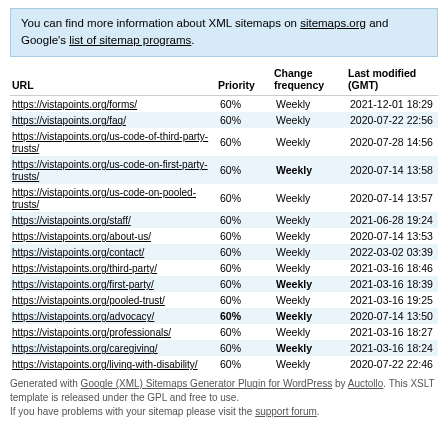You can find more information about XML sitemaps on sitemaps.org and Google's list of sitemap programs.
| URL | Priority | Change frequency | Last modified (GMT) |
| --- | --- | --- | --- |
| https://vistapoints.org/forms/ | 60% | Weekly | 2021-12-01 18:29 |
| https://vistapoints.org/faq/ | 60% | Weekly | 2020-07-22 22:56 |
| https://vistapoints.org/us-code-of-third-party-trusts/ | 60% | Weekly | 2020-07-28 14:56 |
| https://vistapoints.org/us-code-on-first-party-trusts/ | 60% | Weekly | 2020-07-14 13:58 |
| https://vistapoints.org/us-code-on-pooled-trusts/ | 60% | Weekly | 2020-07-14 13:57 |
| https://vistapoints.org/staff/ | 60% | Weekly | 2021-06-28 19:24 |
| https://vistapoints.org/about-us/ | 60% | Weekly | 2020-07-14 13:53 |
| https://vistapoints.org/contact/ | 60% | Weekly | 2022-03-02 03:39 |
| https://vistapoints.org/third-party/ | 60% | Weekly | 2021-03-16 18:46 |
| https://vistapoints.org/first-party/ | 60% | Weekly | 2021-03-16 18:39 |
| https://vistapoints.org/pooled-trust/ | 60% | Weekly | 2021-03-16 19:25 |
| https://vistapoints.org/advocacy/ | 60% | Weekly | 2020-07-14 13:50 |
| https://vistapoints.org/professionals/ | 60% | Weekly | 2021-03-16 18:27 |
| https://vistapoints.org/caregiving/ | 60% | Weekly | 2021-03-16 18:24 |
| https://vistapoints.org/living-with-disability/ | 60% | Weekly | 2020-07-22 22:46 |
Generated with Google (XML) Sitemaps Generator Plugin for WordPress by Auctollo. This XSLT template is released under the GPL and free to use. If you have problems with your sitemap please visit the support forum.